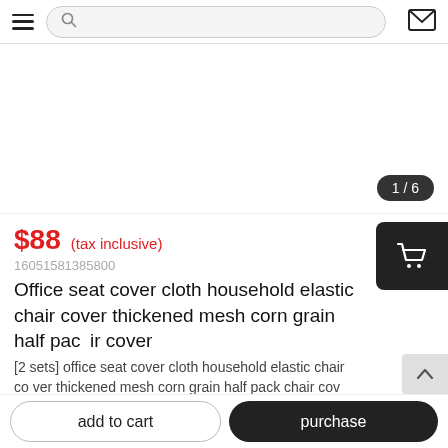☰  [search bar]  ✉
[Figure (photo): Product image area showing white background with image counter badge '1 / 6' in dark rounded pill in bottom-right corner]
$88  (tax inclusive)
16051581385800
Office seat cover cloth household elastic chair cover thickened mesh corn grain half pack chair cover
[2 sets] office seat cover cloth household elastic chair cover thickened mesh corn grain half pack chair cov
The item cost is displayed here.Please contact u
add to cart
purchase